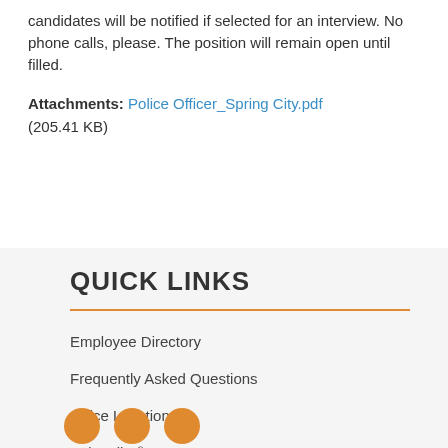candidates will be notified if selected for an interview. No phone calls, please. The position will remain open until filled.
Attachments: Police Officer_Spring City.pdf (205.41 KB)
QUICK LINKS
Employee Directory
Frequently Asked Questions
Office Locations
Subscribe
Employee Login